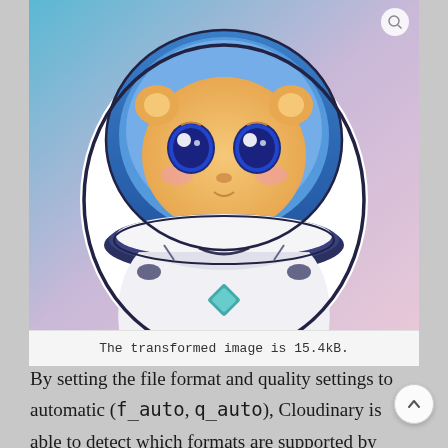[Figure (illustration): A cute cartoon hamster/cat character in a white spacesuit with a teal diamond emblem, large blue eyes, and rosy cheeks, set against a gradient blue-pink-purple background. Below the illustration is a caption box on a light gray background.]
The transformed image is 15.4kB.
By setting the file format and quality settings to automatic (f_auto, q_auto), Cloudinary is able to detect which formats are supported by the client and serves the most efficient format at a